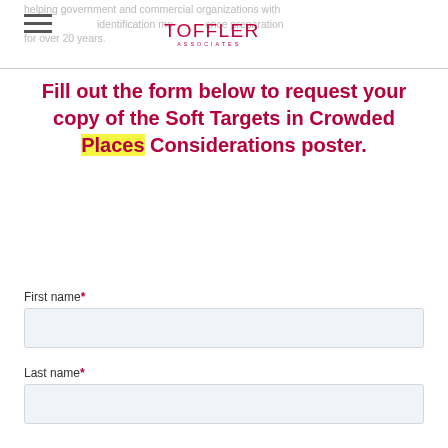helping government and commercial organizations with identification monitoring and resilience preparation for over 20 years.
[Figure (logo): Toffler Associates logo]
Fill out the form below to request your copy of the Soft Targets in Crowded Places Considerations poster.
First name*
Last name*